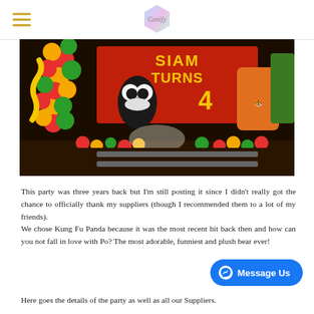Genify (logo)
[Figure (photo): Kung Fu Panda birthday party decoration with balloon arch, cutout characters (Po the panda, tiger, snake, others), and a banner reading 'SIAM TURNS 14' with colored balloons on the floor.]
This party was three years back but I'm still posting it since I didn't really got the chance to officially thank my suppliers (though I recommended them to a lot of my friends).
We chose Kung Fu Panda because it was the most recent hit back then and how can you not fall in love with Po? The most adorable, funniest and plush bear ever!
Here goes the details of the party as well as all our Suppliers.